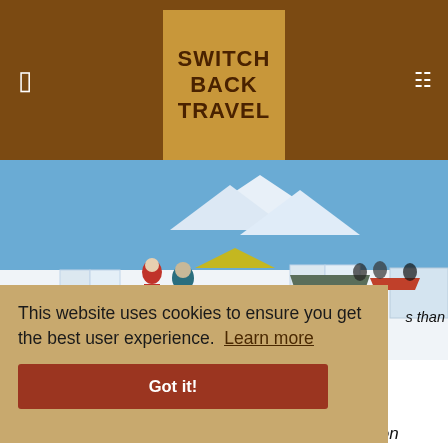Switchback Travel
[Figure (photo): Mountaineers and campers setting up tents in a snowy alpine environment, building snow walls around tents, with mountain peaks in the background under a clear blue sky.]
This website uses cookies to ensure you get the best user experience. Learn more
Got it!
Treeline tents are the most trimmed-down 4-season